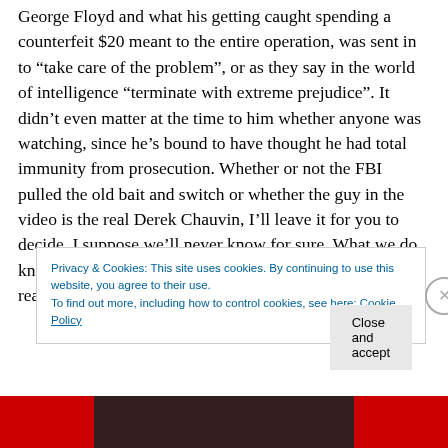George Floyd and what his getting caught spending a counterfeit $20 meant to the entire operation, was sent in to “take care of the problem”, or as they say in the world of intelligence “terminate with extreme prejudice”. It didn’t even matter at the time to him whether anyone was watching, since he’s bound to have thought he had total immunity from prosecution. Whether or not the FBI pulled the old bait and switch or whether the guy in the video is the real Derek Chauvin, I’ll leave it for you to decide. I suppose we’ll never know for sure. What we do know is that: 1) He would have known who George Floyd really
Privacy & Cookies: This site uses cookies. By continuing to use this website, you agree to their use.
To find out more, including how to control cookies, see here: Cookie Policy
Close and accept